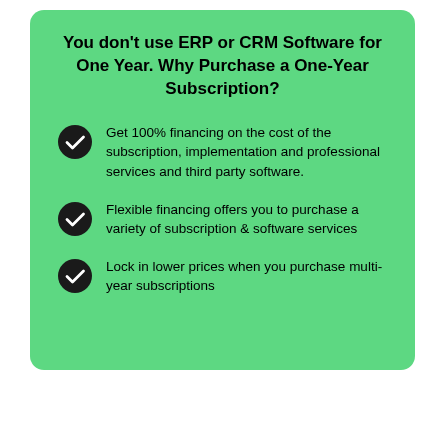You don't use ERP or CRM Software for One Year. Why Purchase a One-Year Subscription?
Get 100% financing on the cost of the subscription, implementation and professional services and third party software.
Flexible financing offers you to purchase a variety of subscription & software services
Lock in lower prices when you purchase multi-year subscriptions